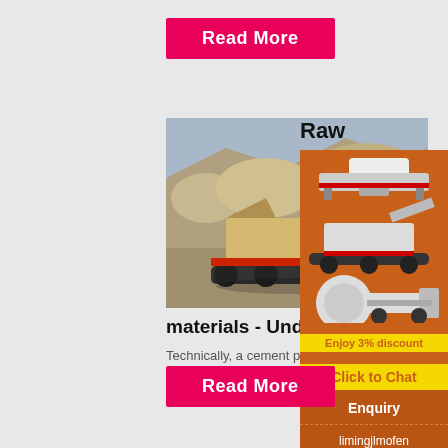Read More
[Figure (photo): A large mobile crushing machine working in a quarry/mining site with rocky terrain and dust]
materials - Understanding Ce
Technically, a cement producer can have
Raw
[Figure (photo): Advertisement showing heavy industrial machinery (crushers, mills) with orange background. 'Enjoy 3% discount' and 'Click to Chat' buttons, Enquiry section with limingjlmofen@sina.com]
Read More